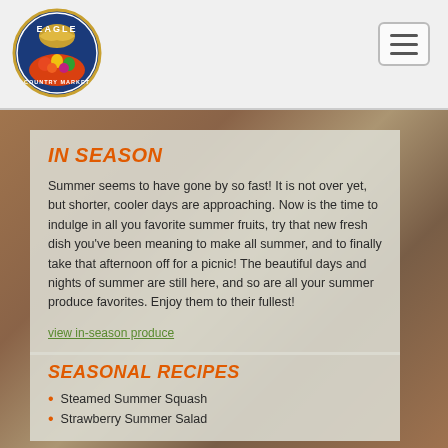[Figure (logo): Eagle Country Market logo — circular badge with an eagle above a fruit bowl, text reads EAGLE COUNTRY MARKET]
IN SEASON
Summer seems to have gone by so fast! It is not over yet, but shorter, cooler days are approaching. Now is the time to indulge in all you favorite summer fruits, try that new fresh dish you've been meaning to make all summer, and to finally take that afternoon off for a picnic! The beautiful days and nights of summer are still here, and so are all your summer produce favorites. Enjoy them to their fullest!
view in-season produce
SEASONAL RECIPES
Steamed Summer Squash
Strawberry Summer Salad